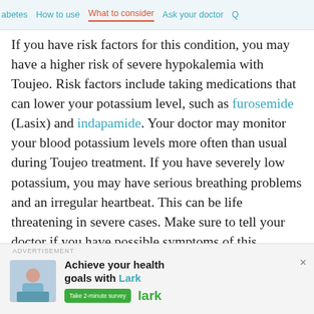abetes   How to use   What to consider   Ask your doctor   Q
If you have risk factors for this condition, you may have a higher risk of severe hypokalemia with Toujeo. Risk factors include taking medications that can lower your potassium level, such as furosemide (Lasix) and indapamide. Your doctor may monitor your blood potassium levels more often than usual during Toujeo treatment. If you have severely low potassium, you may have serious breathing problems and an irregular heartbeat. This can be life threatening in severe cases. Make sure to tell your doctor if you have possible symptoms of this condition. They may stop your Toujeo treatment.
[Figure (other): Advertisement banner: 'Achieve your health goals with Lark' with a Take 2-minute survey button and Lark branding logo, and a small image of a person.]